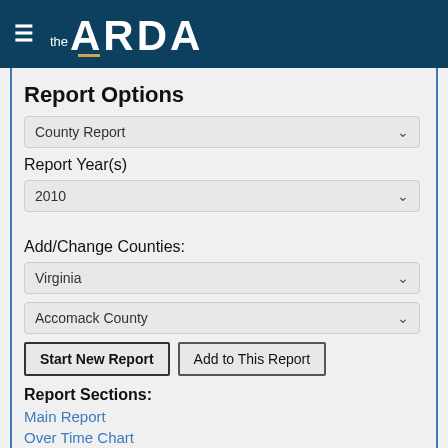the ARDA
Report Options
County Report
Report Year(s)
2010
Add/Change Counties:
Virginia
Accomack County
Start New Report  Add to This Report
Report Sections:
Main Report
Over Time Chart
Notes